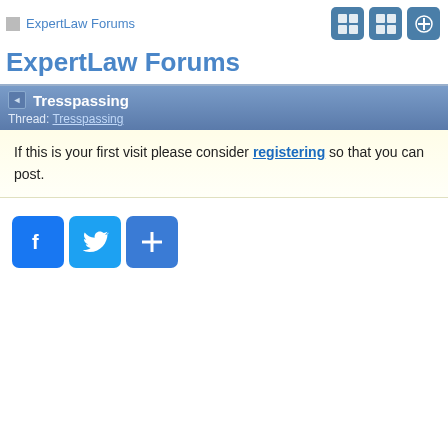ExpertLaw Forums
ExpertLaw Forums
Tresspassing
Thread: Tresspassing
If this is your first visit please consider registering so that you can post.
[Figure (other): Social share buttons: Facebook, Twitter, and a plus/share button]